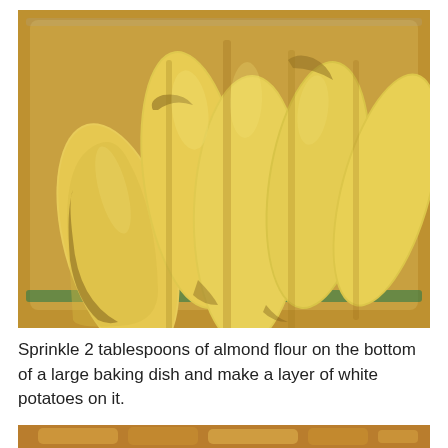[Figure (photo): Sliced white potato wedges arranged in a glass baking dish on a wooden surface, viewed from above. The potato slices are long, oval-shaped, pale yellow with skin edges, arranged overlapping in rows.]
Sprinkle 2 tablespoons of almond flour on the bottom of a large baking dish and make a layer of white potatoes on it.
[Figure (photo): Partial view of another step photo at the bottom of the page, cropped.]